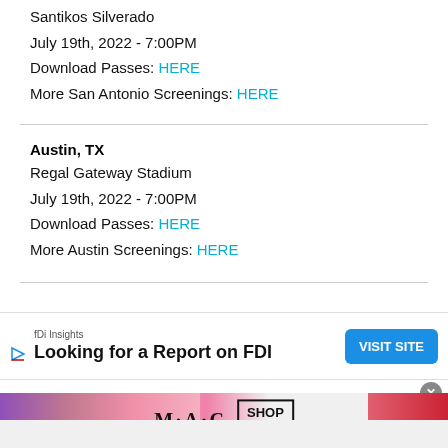Santikos Silverado
July 19th, 2022 - 7:00PM
Download Passes: HERE
More San Antonio Screenings: HERE
Austin, TX
Regal Gateway Stadium
July 19th, 2022 - 7:00PM
Download Passes: HERE
More Austin Screenings: HERE
[Figure (infographic): Advertisement banner: fDi Insights - Looking for a Report on FDI - VISIT SITE button]
[Figure (photo): MAC cosmetics advertisement showing lipsticks with SHOP NOW box]